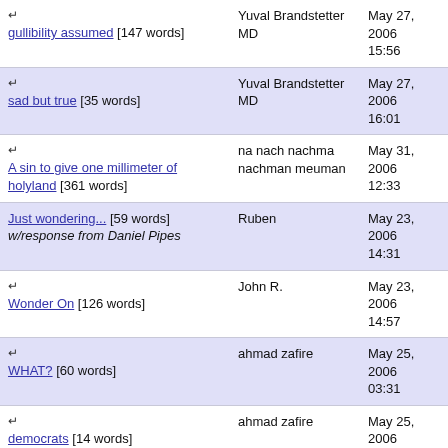| Title/Link | Author | Date |
| --- | --- | --- |
| ↳ gullibility assumed [147 words] | Yuval Brandstetter MD | May 27, 2006 15:56 |
| ↳ sad but true [35 words] | Yuval Brandstetter MD | May 27, 2006 16:01 |
| ↳ A sin to give one millimeter of holyland [361 words] | na nach nachma nachman meuman | May 31, 2006 12:33 |
| Just wondering... [59 words] w/response from Daniel Pipes | Ruben | May 23, 2006 14:31 |
| ↳ Wonder On [126 words] | John R. | May 23, 2006 14:57 |
| ↳ WHAT? [60 words] | ahmad zafire | May 25, 2006 03:31 |
| ↳ democrats [14 words] | ahmad zafire | May 25, 2006 14:25 |
| ↳ Need to build a consensus [138 words] | Octavio Johanson | May 25, 2006 18:03 |
| ↳ | NYJeanNoel | May 25, |